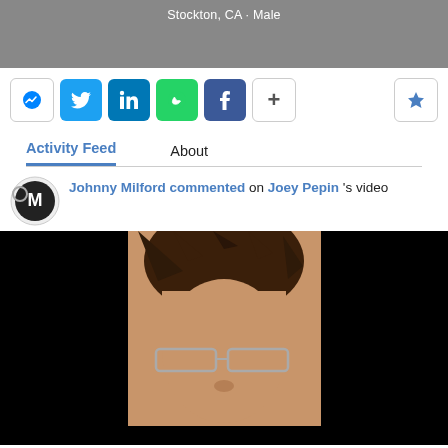Stockton, CA · Male
[Figure (screenshot): Social share buttons: Messenger, Twitter, LinkedIn, WhatsApp, Facebook, plus button, and star/bookmark button on right]
Activity Feed    About
Johnny Milford commented on Joey Pepin's video
[Figure (photo): Video thumbnail showing a person with spiky dark hair wearing glasses, against a black background]